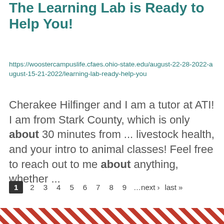The Learning Lab is Ready to Help You!
https://woostercampuslife.cfaes.ohio-state.edu/august-22-28-2022-august-15-21-2022/learning-lab-ready-help-you
Cherakee Hilfinger  and I am a tutor at ATI! I am from Stark County, which is only about 30 minutes from ... livestock health, and your intro to animal classes! Feel free to reach out to me about anything, whether ...
1 2 3 4 5 6 7 8 9 …next › last »